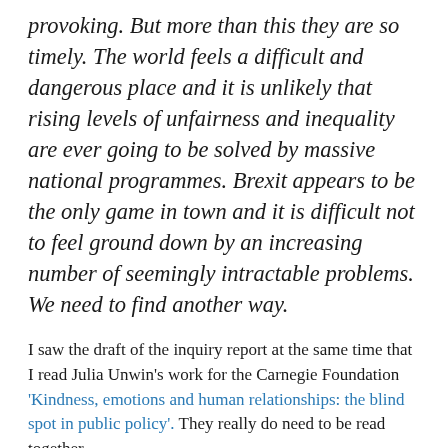provoking. But more than this they are so timely. The world feels a difficult and dangerous place and it is unlikely that rising levels of unfairness and inequality are ever going to be solved by massive national programmes. Brexit appears to be the only game in town and it is difficult not to feel ground down by an increasing number of seemingly intractable problems. We need to find another way.
I saw the draft of the inquiry report at the same time that I read Julia Unwin's work for the Carnegie Foundation 'Kindness, emotions and human relationships: the blind spot in public policy'. They really do need to be read together.